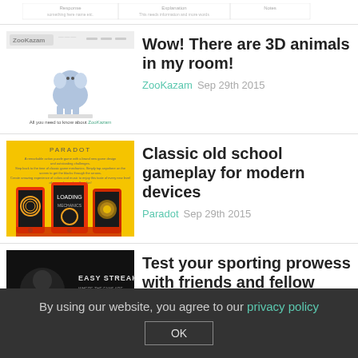[Figure (screenshot): Partial top strip showing column headers of a table]
[Figure (screenshot): ZooKazam app screenshot showing 3D elephant AR]
Wow! There are 3D animals in my room!
ZooKazam   Sep 29th 2015
[Figure (screenshot): Paradot app screenshot showing phones on yellow background]
Classic old school gameplay for modern devices
Paradot   Sep 29th 2015
[Figure (screenshot): Easy Streak app screenshot showing dark background with logo]
Test your sporting prowess with friends and fellow sporting fans
By using our website, you agree to our privacy policy
OK